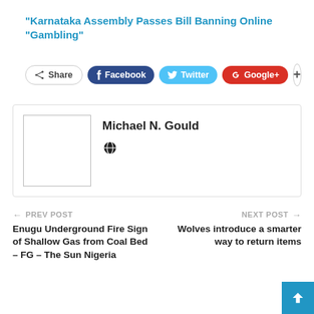"Karnataka Assembly Passes Bill Banning Online "Gambling"
[Figure (screenshot): Social share buttons: Share, Facebook, Twitter, Google+, and a plus button]
Michael N. Gould
[Figure (illustration): Author avatar placeholder box with a globe/web icon]
PREV POST
Enugu Underground Fire Sign of Shallow Gas from Coal Bed – FG – The Sun Nigeria
NEXT POST
Wolves introduce a smarter way to return items